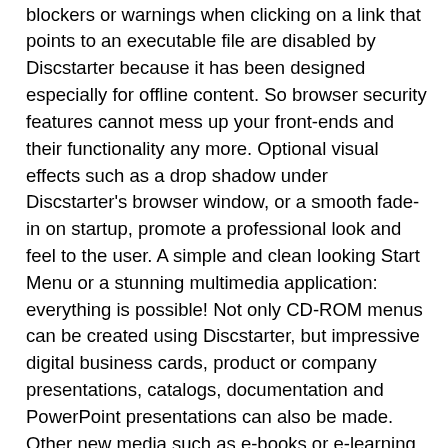easily tested by Discstarter. Also typical security features of normal web browsers such as popup blockers or warnings when clicking on a link that points to an executable file are disabled by Discstarter because it has been designed especially for offline content. So browser security features cannot mess up your front-ends and their functionality any more. Optional visual effects such as a drop shadow under Discstarter's browser window, or a smooth fade-in on startup, promote a professional look and feel to the user. A simple and clean looking Start Menu or a stunning multimedia application: everything is possible! Not only CD-ROM menus can be created using Discstarter, but impressive digital business cards, product or company presentations, catalogs, documentation and PowerPoint presentations can also be made. Other new media such as e-books or e-learning content can be easily created using Discstarter. Everything is done using HTML and other well known web technologies such as JavaScript, FlashO or DHTML. This saves you lots of money and time because you can use the same content in many different ways e.g. for the Web, for print and now also for offline CD-ROM content. No other authoring tool offers this great synergy! Only a few clicks are required to set up a fully customized front-end.